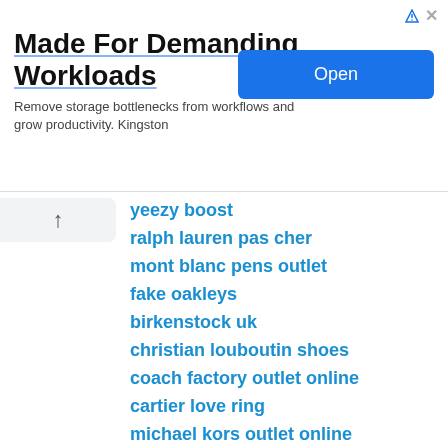[Figure (other): Advertisement banner: 'Made For Demanding Workloads - Remove storage bottlenecks from workflows and grow productivity. Kingston' with an Open button]
yeezy boost
ralph lauren pas cher
mont blanc pens outlet
fake oakleys
birkenstock uk
christian louboutin shoes
coach factory outlet online
cartier love ring
michael kors outlet online
nike free flyknit 5.0
oakley sunglasses cheap
rolex replica watches
reebok
under armour
true religion uk
yeezy boost 350 white
adidas gazelle
abercrombie outlet